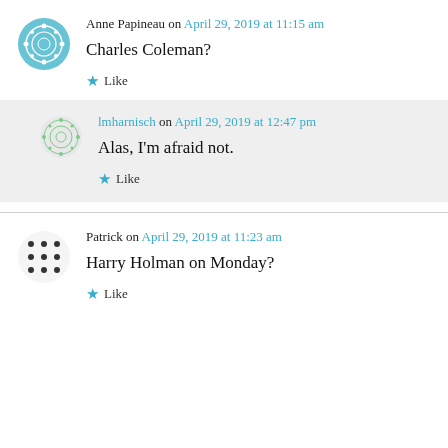Anne Papineau on April 29, 2019 at 11:15 am
Charles Coleman?
Like
lmharnisch on April 29, 2019 at 12:47 pm
Alas, I'm afraid not.
Like
Patrick on April 29, 2019 at 11:23 am
Harry Holman on Monday?
Like